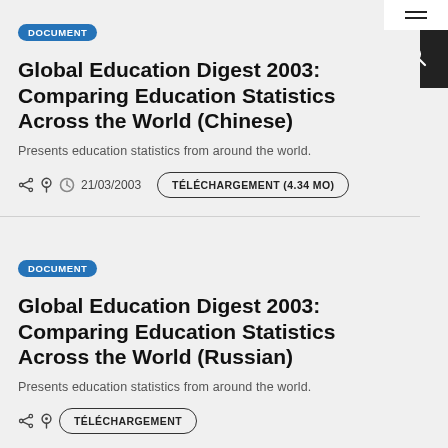DOCUMENT
Global Education Digest 2003: Comparing Education Statistics Across the World (Chinese)
Presents education statistics from around the world.
21/03/2003
TÉLÉCHARGEMENT (4.34 MO)
DOCUMENT
Global Education Digest 2003: Comparing Education Statistics Across the World (Russian)
Presents education statistics from around the world.